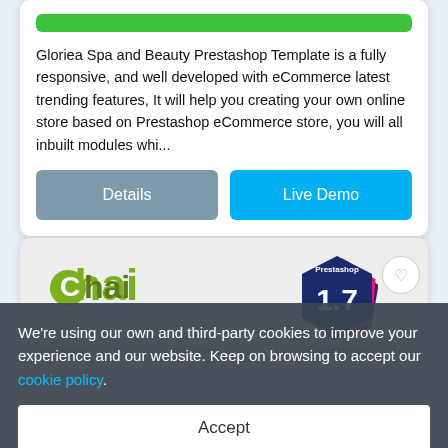Gloriea Spa and Beauty Prestashop Template is a fully responsive, and well developed with eCommerce latest trending features, It will help you creating your own online store based on Prestashop eCommerce store, you will all inbuilt modules whi...
Details
Live Demo
[Figure (screenshot): Chai PrestaShop template card with logo and Prestashop 1.7 badge]
We're using our own and third-party cookies to improve your experience and our website. Keep on browsing to accept our cookie policy.
Accept